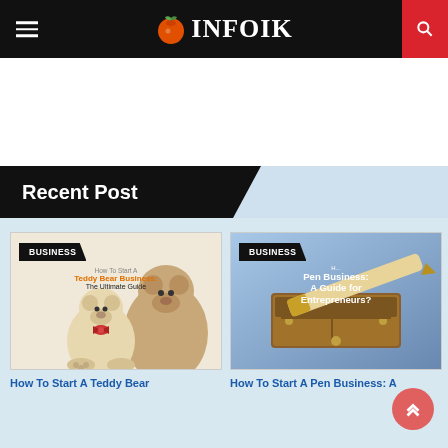INFOIK
Recent Post
[Figure (screenshot): Card image for 'How To Start A Teddy Bear Business: The Ultimate Guide' with BUSINESS badge and two teddy bears]
How To Start A Teddy Bear
[Figure (screenshot): Card image for 'How To Start A Pen Business: A Guide for Entrepreneurs?' with BUSINESS badge and pen/wooden box]
How To Start A Pen Business: A